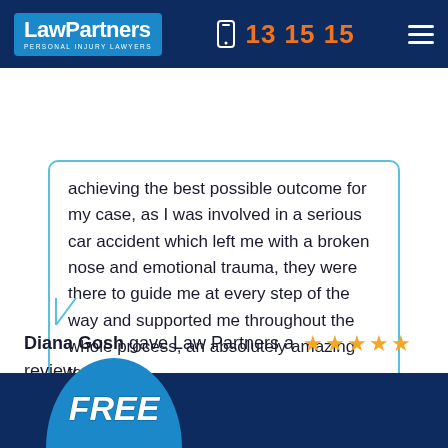LawPartners PERSONAL INJURY LAWYERS | 13 15 15
achieving the best possible outcome for my case, as I was involved in a serious car accident which left me with a broken nose and emotional trauma, they were there to guide me at every step of the way and supported me throughout the whole process, an absolutely amazing team.
Diana Gosh gave Law Partners a ★★★★★ review on Google